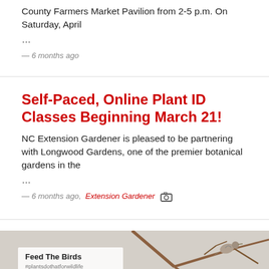County Farmers Market Pavilion from 2-5 p.m. On Saturday, April …
— 6 months ago
Self-Paced, Online Plant ID Classes Beginning March 21!
NC Extension Gardener is pleased to be partnering with Longwood Gardens, one of the premier botanical gardens in the …
— 6 months ago,  Extension Gardener
[Figure (photo): Feed The Birds #plantsdothatforwildlife promotional image showing a bird perched on a branch]